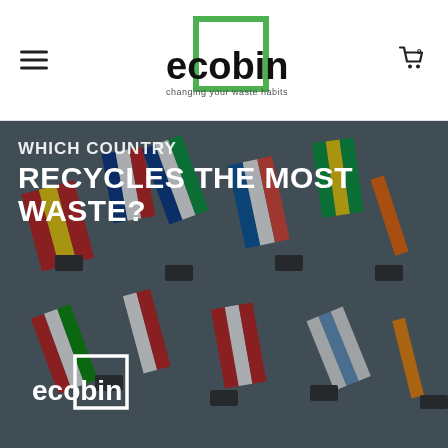[Figure (logo): Ecobin logo — green square outline with 'ecobin' bold black text and tagline 'changing your waste habits']
[Figure (photo): Background photo of multiple international flags mounted on a wall at angles, muted grey tones, with white overlay text 'WHICH COUNTRY RECYCLES THE MOST WASTE?' and ecobin logo watermark in white]
WHICH COUNTRY RECYCLES THE MOST WASTE?